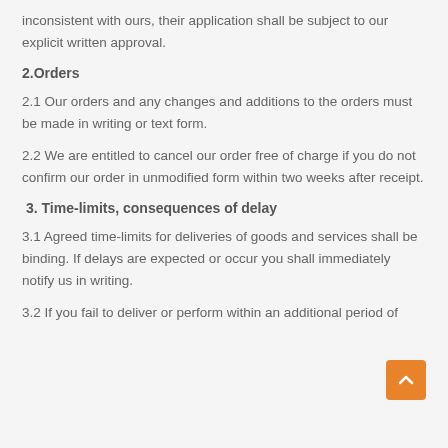inconsistent with ours, their application shall be subject to our explicit written approval.
2.Orders
2.1 Our orders and any changes and additions to the orders must be made in writing or text form.
2.2 We are entitled to cancel our order free of charge if you do not confirm our order in unmodified form within two weeks after receipt.
3. Time-limits, consequences of delay
3.1 Agreed time-limits for deliveries of goods and services shall be binding. If delays are expected or occur you shall immediately notify us in writing.
3.2 If you fail to deliver or perform within an additional period of